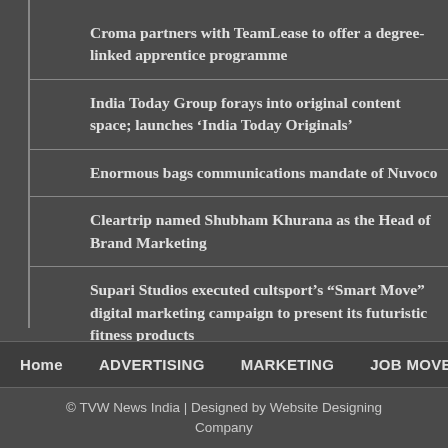Croma partners with TeamLease to offer a degree-linked apprentice programme
India Today Group forays into original content space; launches ‘India Today Originals’
Enormous bags communications mandate of Nuvoco
Cleartrip named Shubham Khurana as the Head of Brand Marketing
Supari Studios executed cultsport’s “Smart Move” digital marketing campaign to present its futuristic fitness products
Home   ADVERTISING   MARKETING   JOB MOVEMENT   C
© TVW News India | Designed by Website Designing Company